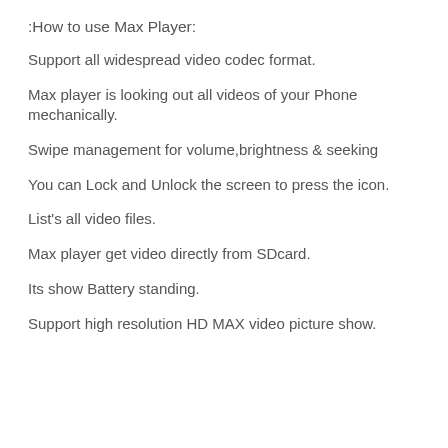:How to use Max Player:
Support all widespread video codec format.
Max player is looking out all videos of your Phone mechanically.
Swipe management for volume,brightness & seeking
You can Lock and Unlock the screen to press the icon.
List's all video files.
Max player get video directly from SDcard.
Its show Battery standing.
Support high resolution HD MAX video picture show.